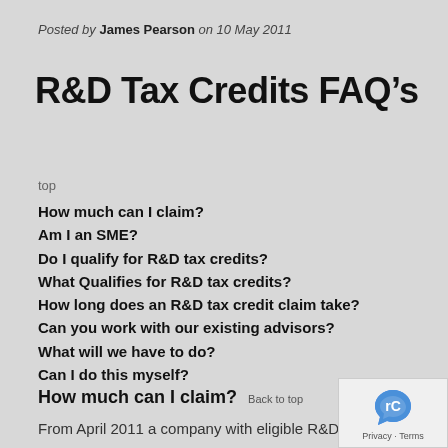Posted by James Pearson on 10 May 2011
R&D Tax Credits FAQ's
top
How much can I claim?
Am I an SME?
Do I qualify for R&D tax credits?
What Qualifies for R&D tax credits?
How long does an R&D tax credit claim take?
Can you work with our existing advisors?
What will we have to do?
Can I do this myself?
How much can I claim? Back to top
From April 2011 a company with eligible R&D